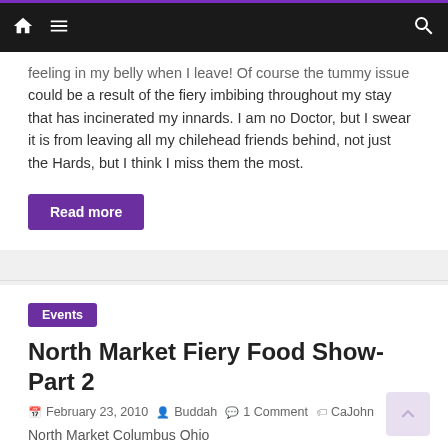Navigation bar with home, menu, and search icons
feeling in my belly when I leave! Of course the tummy issue could be a result of the fiery imbibing throughout my stay that has incinerated my innards. I am no Doctor, but I swear it is from leaving all my chilehead friends behind, not just the Hards, but I think I miss them the most.
Read more
Events
North Market Fiery Food Show- Part 2
February 23, 2010  Buddah  1 Comment  CaJohn
North Market Columbus Ohio